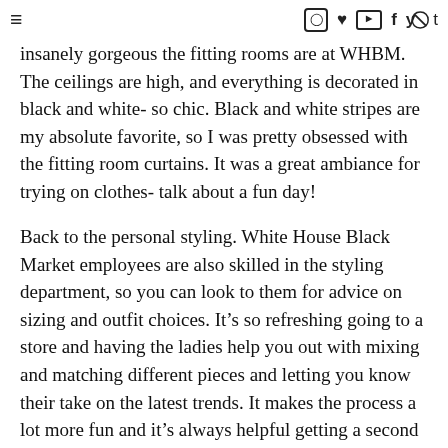≡  [instagram] [heart] [youtube] [facebook] [twitter] [pinterest] t
insanely gorgeous the fitting rooms are at WHBM. The ceilings are high, and everything is decorated in black and white- so chic. Black and white stripes are my absolute favorite, so I was pretty obsessed with the fitting room curtains. It was a great ambiance for trying on clothes- talk about a fun day!
Back to the personal styling. White House Black Market employees are also skilled in the styling department, so you can look to them for advice on sizing and outfit choices. It's so refreshing going to a store and having the ladies help you out with mixing and matching different pieces and letting you know their take on the latest trends. It makes the process a lot more fun and it's always helpful getting a second opinion from someone!